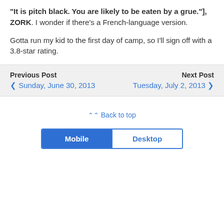“It is pitch black. You are likely to be eaten by a grue.”], ZORK. I wonder if there’s a French-language version.
Gotta run my kid to the first day of camp, so I’ll sign off with a 3.8-star rating.
Previous Post
❮ Sunday, June 30, 2013

Next Post
Tuesday, July 2, 2013 ❯
⌃⌃ Back to top
Mobile | Desktop